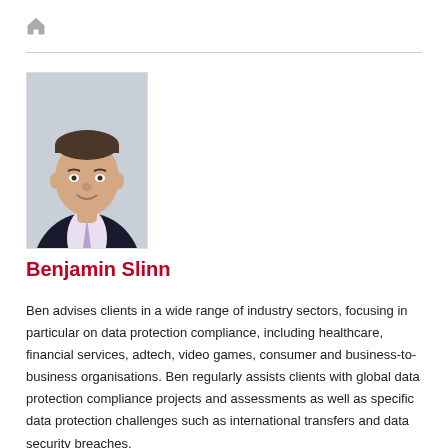🏠
[Figure (photo): Professional headshot photo of Benjamin Slinn, a man in a dark suit with a light purple tie, smiling, against a white background]
Benjamin Slinn
Ben advises clients in a wide range of industry sectors, focusing in particular on data protection compliance, including healthcare, financial services, adtech, video games, consumer and business-to-business organisations. Ben regularly assists clients with global data protection compliance projects and assessments as well as specific data protection challenges such as international transfers and data security breaches.